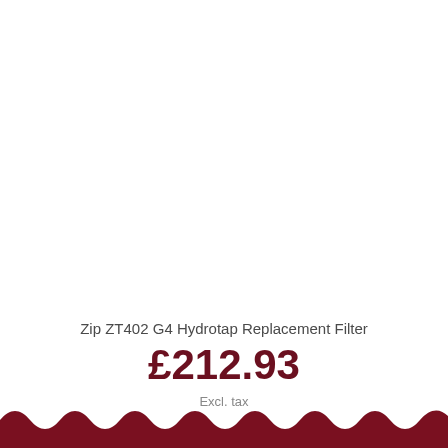Zip ZT402 G4 Hydrotap Replacement Filter
£212.93
Excl. tax